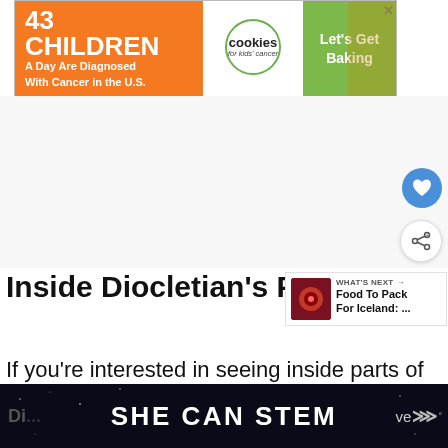[Figure (screenshot): Advertisement banner: '43 CHILDREN A Day Are Diagnosed With Cancer in the U.S.' with cookies for kids cancer logo and 'Let's Get Baking' call to action on green background]
[Figure (screenshot): White blank content area with heart (like) button and share button on the right side]
Inside Diocletian's Palace
[Figure (screenshot): What's Next panel showing thumbnail and text 'Food To Pack For Iceland: ...']
If you're interested in seeing inside parts of Di... ve...
[Figure (screenshot): Bottom dark banner with text 'SHE CAN STEM' and logos on sides]